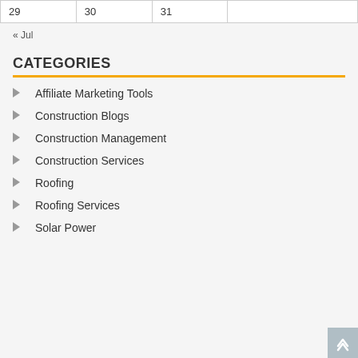| 29 | 30 | 31 |  |
« Jul
CATEGORIES
Affiliate Marketing Tools
Construction Blogs
Construction Management
Construction Services
Roofing
Roofing Services
Solar Power